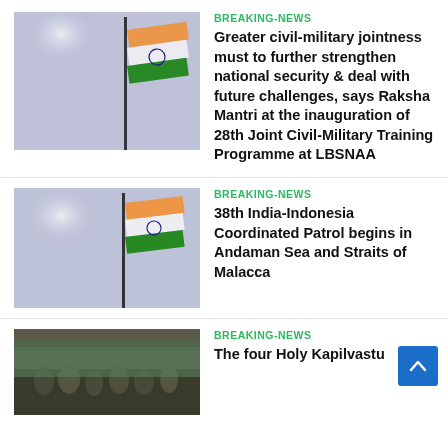[Figure (photo): Indian national flag waving against a bright sky background]
BREAKING-NEWS
Greater civil-military jointness must to further strengthen national security & deal with future challenges, says Raksha Mantri at the inauguration of 28th Joint Civil-Military Training Programme at LBSNAA
[Figure (photo): Indian national flag waving against a bright sky background]
BREAKING-NEWS
38th India-Indonesia Coordinated Patrol begins in Andaman Sea and Straits of Malacca
[Figure (photo): Crowd of people at an outdoor event]
BREAKING-NEWS
The four Holy Kapilvastu